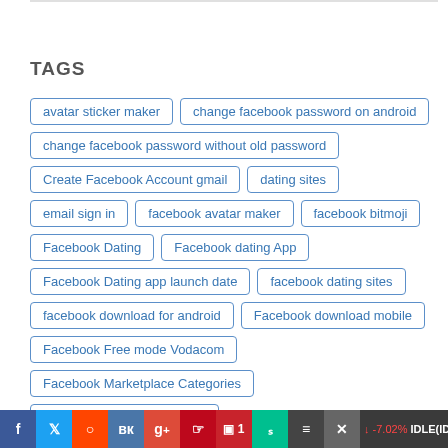TAGS
avatar sticker maker
change facebook password on android
change facebook password without old password
Create Facebook Account gmail
dating sites
email sign in
facebook avatar maker
facebook bitmoji
Facebook Dating
Facebook dating App
Facebook Dating app launch date
facebook dating sites
facebook download for android
Facebook download mobile
Facebook Free mode Vodacom
Facebook Marketplace Categories
Facebook Marketplace rules
↓ -7.02%   IDLE(IDLE)  $1.44  ↓ -13.30%   Relevant(REL)  $0.